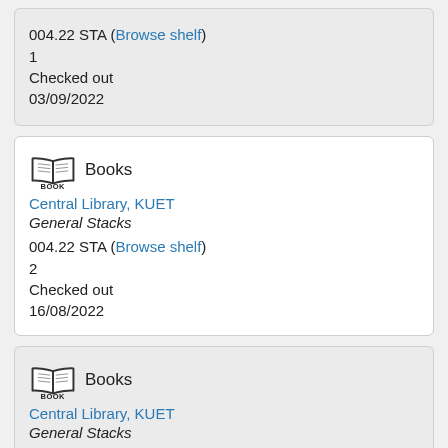004.22 STA (Browse shelf)
1
Checked out
03/09/2022
Books BOOK
Central Library, KUET
General Stacks
004.22 STA (Browse shelf)
2
Checked out
16/08/2022
Books BOOK
Central Library, KUET
General Stacks
004.22 STA (Browse shelf)
3
Checked out